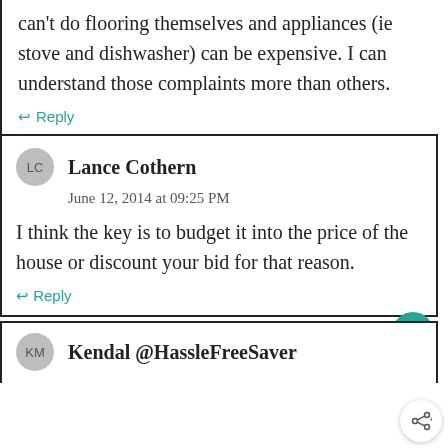can't do flooring themselves and appliances (ie stove and dishwasher) can be expensive. I can understand those complaints more than others.
↩ Reply
Lance Cothern
June 12, 2014 at 09:25 PM
I think the key is to budget it into the price of the house or discount your bid for that reason.
↩ Reply
Kendal @HassleFreeSaver